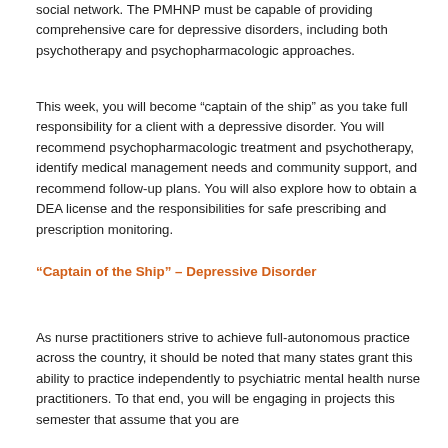social network. The PMHNP must be capable of providing comprehensive care for depressive disorders, including both psychotherapy and psychopharmacologic approaches.
This week, you will become “captain of the ship” as you take full responsibility for a client with a depressive disorder. You will recommend psychopharmacologic treatment and psychotherapy, identify medical management needs and community support, and recommend follow-up plans. You will also explore how to obtain a DEA license and the responsibilities for safe prescribing and prescription monitoring.
“Captain of the Ship” – Depressive Disorder
As nurse practitioners strive to achieve full-autonomous practice across the country, it should be noted that many states grant this ability to practice independently to psychiatric mental health nurse practitioners. To that end, you will be engaging in projects this semester that assume that you are